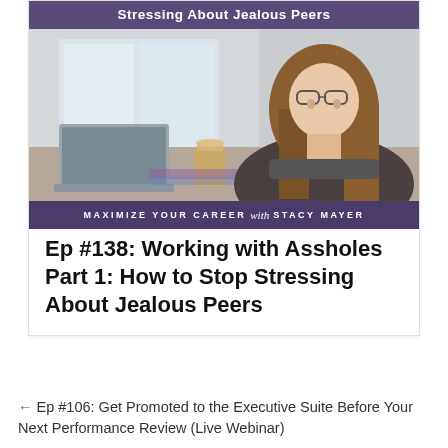[Figure (illustration): Podcast episode cover art for 'Maximize Your Career with Stacy Mayer'. Shows a woman with long brown hair and glasses leaning back in a chair at a desk with a laptop and coffee cup. Dark teal/purple banner at top reads 'Stressing About Jealous Peers'. Purple footer bar reads 'MAXIMIZE YOUR CAREER with STACY MAYER'.]
Ep #138: Working with Assholes Part 1: How to Stop Stressing About Jealous Peers
← Ep #106: Get Promoted to the Executive Suite Before Your Next Performance Review (Live Webinar)